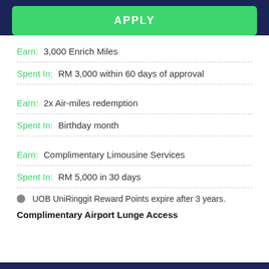APPLY
Earn: 3,000 Enrich Miles
Spent In: RM 3,000 within 60 days of approval
Earn: 2x Air-miles redemption
Spent In: Birthday month
Earn: Complimentary Limousine Services
Spent In: RM 5,000 in 30 days
UOB UniRinggit Reward Points expire after 3 years.
Complimentary Airport Lunge Access